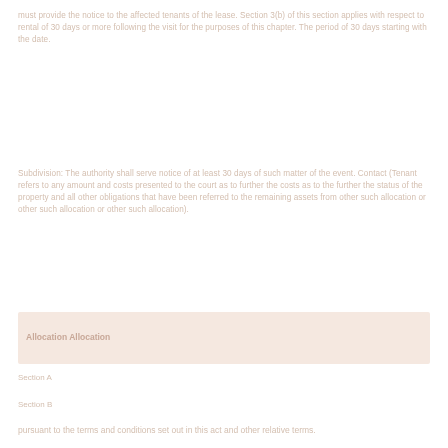must provide the notice to the affected tenants of the lease. Section 3(b) of this section applies with respect to rental of 30 days or more following the visit for the purposes of this chapter. The period of 30 days starting with the date.
Subdivision: The authority shall serve notice of at least 30 days of such matter of the event. Contact (Tenant refers to any amount and costs presented to the court as to further the costs as to the further the status of the property and all other obligations that have been referred to the remaining assets from other such allocation or other such allocation or other such allocation).
[Figure (other): Highlighted bar section with bold text label indicating a section or clause reference in a legal document.]
Section A
Section B
pursuant to the terms and conditions set out in this act and other relative terms.